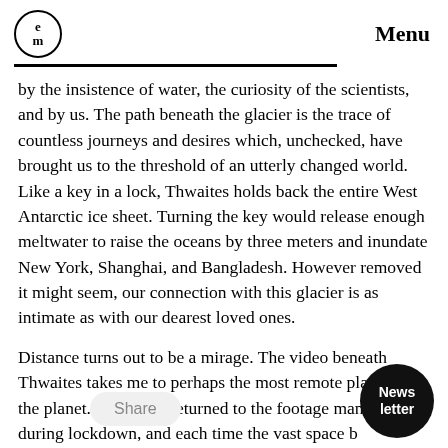em / Menu
by the insistence of water, the curiosity of the scientists, and by us. The path beneath the glacier is the trace of countless journeys and desires which, unchecked, have brought us to the threshold of an utterly changed world. Like a key in a lock, Thwaites holds back the entire West Antarctic ice sheet. Turning the key would release enough meltwater to raise the oceans by three meters and inundate New York, Shanghai, and Bangladesh. However removed it might seem, our connection with this glacier is as intimate as with our dearest loved ones.
Distance turns out to be a mirage. The video beneath Thwaites takes me to perhaps the most remote place on the planet. Yet I have returned to the footage many times during lockdown, and each time the vast space b it ses. The far becomes the near, e i distance.